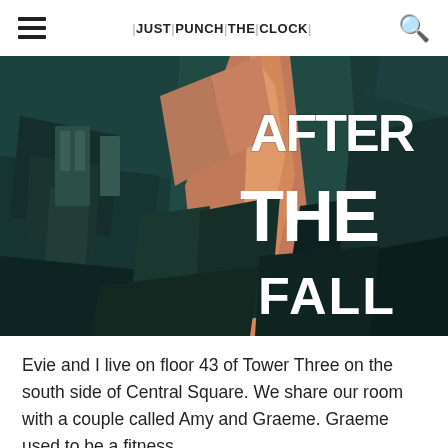≡  |JUST|PUNCH|THE|CLOCK|  🔍
[Figure (illustration): Digitally painted/illustrated scene showing a stylized urban or interior environment with warm orange and teal/dark tones, fragmented geometric shapes suggesting cubist influence. Overlaid white hand-lettered text reads 'AFTER THE FALL' in large bold letters.]
Evie and I live on floor 43 of Tower Three on the south side of Central Square. We share our room with a couple called Amy and Graeme. Graeme used to be a fitness